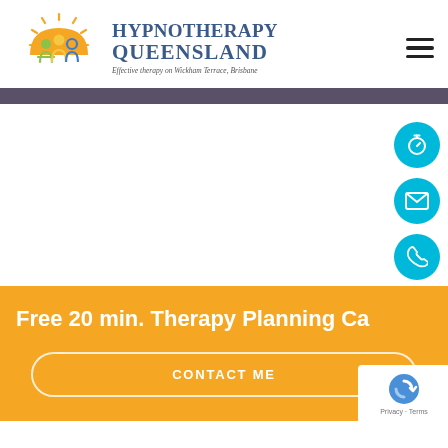[Figure (logo): Hypnotherapy Queensland logo with sun and three figures, text 'HYPNOTHERAPY QUEENSLAND' and tagline 'Effective therapy on Wickham Terrace, Brisbane']
[Figure (illustration): Hamburger menu icon (three horizontal lines) in top right corner]
[Figure (illustration): Dark purple/grey horizontal navigation stripe]
[Figure (illustration): Three cyan circular floating action buttons on right side: stopwatch/timer icon, envelope/email icon, phone icon]
Free 20 min. Therapy Planning Ca
CONTACT ME
[Figure (logo): reCAPTCHA badge with logo and Privacy - Terms text]